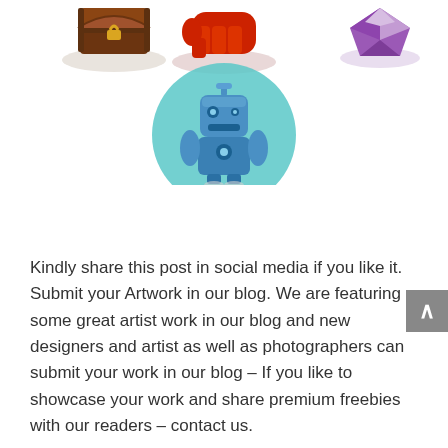[Figure (illustration): Three cartoon-style illustrated icons at top: a brown treasure chest on the left, a red fist/hand in the middle, and a purple gem/crystal on the right, each with a shadow beneath them. Below those, centered, is a blue cartoon robot character inside a teal/mint circular background.]
Kindly share this post in social media if you like it. Submit your Artwork in our blog. We are featuring some great artist work in our blog and new designers and artist as well as photographers can submit your work in our blog – If you like to showcase your work and share premium freebies with our readers – contact us.